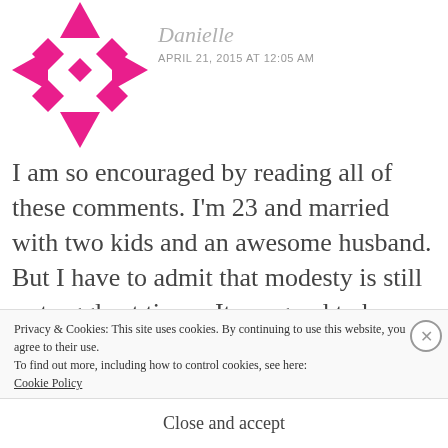[Figure (logo): Pink geometric avatar/logo made of triangles and diamond shapes arranged in a circular pattern]
Danielle
APRIL 21, 2015 AT 12:05 AM
I am so encouraged by reading all of these comments. I'm 23 and married with two kids and an awesome husband. But I have to admit that modesty is still a struggle at times. Its so good to be reminded why modesty is important and how much it helps
Privacy & Cookies: This site uses cookies. By continuing to use this website, you agree to their use.
To find out more, including how to control cookies, see here:
Cookie Policy
Close and accept